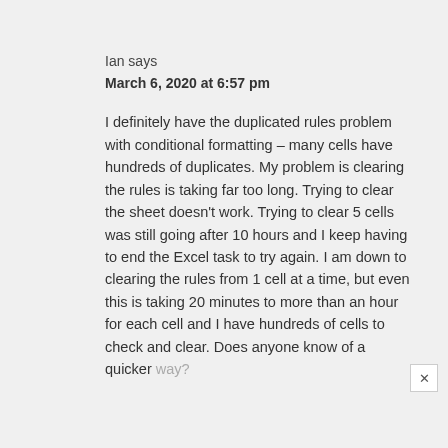Ian says
March 6, 2020 at 6:57 pm
I definitely have the duplicated rules problem with conditional formatting – many cells have hundreds of duplicates. My problem is clearing the rules is taking far too long. Trying to clear the sheet doesn't work. Trying to clear 5 cells was still going after 10 hours and I keep having to end the Excel task to try again. I am down to clearing the rules from 1 cell at a time, but even this is taking 20 minutes to more than an hour for each cell and I have hundreds of cells to check and clear. Does anyone know of a quicker way?